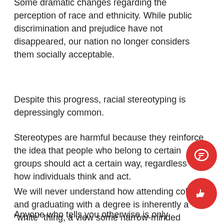Some dramatic changes regarding the perception of race and ethnicity. While public discrimination and prejudice have not disappeared, our nation no longer considers them socially acceptable.
Despite this progress, racial stereotyping is depressingly common.
Stereotypes are harmful because they reinforce the idea that people who belong to certain groups should act a certain way, regardless of how individuals think and act.
We will never understand how attending college and graduating with a degree is inherently a “white” thing, a view some narrow-minded people still hold. Intelligence is not determined by race, and anyone, regardless of ethnicity, should be granted the opportunity to further his or her education.
Anyone who tells you otherwise is only striving to put